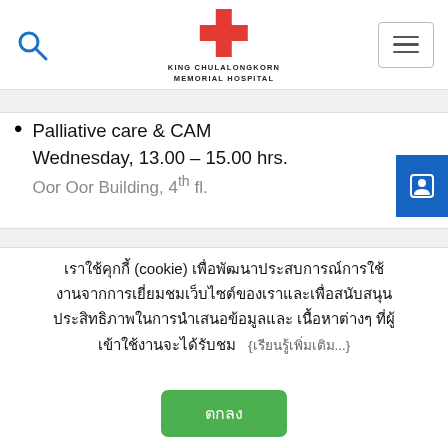[Figure (logo): King Chulalongkorn Memorial Hospital logo with red cross and hospital name]
Palliative care & CAM Wednesday, 13.00 – 15.00 hrs. Oor Oor Building, 4th fl.
เราใช้คุกกี้ (cookie) เพื่อพัฒนาประสบการณ์การใช้งานจากการเยี่ยมชมเว็บไซต์ของเราและเพื่อสนับสนุนประสิทธิภาพในการนำเสนอข้อมูลและ เนื้อหาต่างๆ ที่ผู้เข้าใช้งานจะได้รับชม {เรียนรู้เพิ่มเติม...}
ตกลง